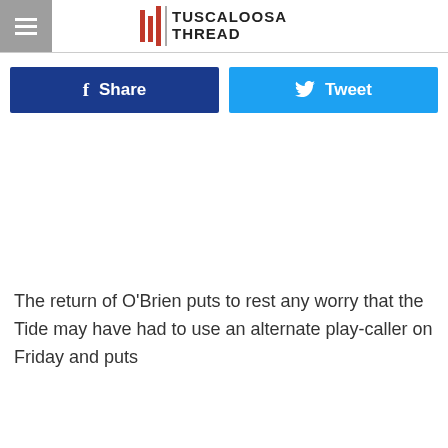TUSCALOOSA THREAD
[Figure (other): Facebook Share button and Twitter Tweet button side by side]
The return of O'Brien puts to rest any worry that the Tide may have had to use an alternate play-caller on Friday and puts